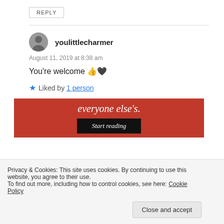REPLY
youlittlecharmer
August 11, 2019 at 8:38 am
You're welcome 👍🖤
Liked by 1 person
[Figure (screenshot): Red advertisement banner with white italic text 'everyone else's.' and a black 'Start reading' button]
Privacy & Cookies: This site uses cookies. By continuing to use this website, you agree to their use. To find out more, including how to control cookies, see here: Cookie Policy